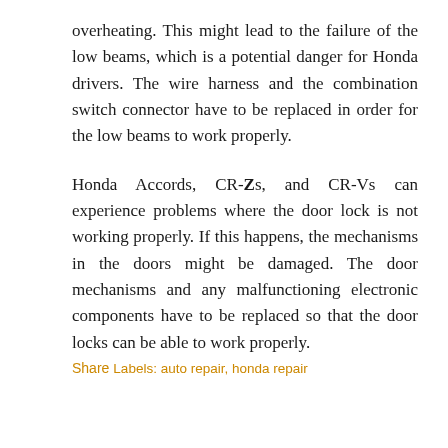overheating. This might lead to the failure of the low beams, which is a potential danger for Honda drivers. The wire harness and the combination switch connector have to be replaced in order for the low beams to work properly.
Honda Accords, CR-Zs, and CR-Vs can experience problems where the door lock is not working properly. If this happens, the mechanisms in the doors might be damaged. The door mechanisms and any malfunctioning electronic components have to be replaced so that the door locks can be able to work properly.
Share
Labels: auto repair, honda repair